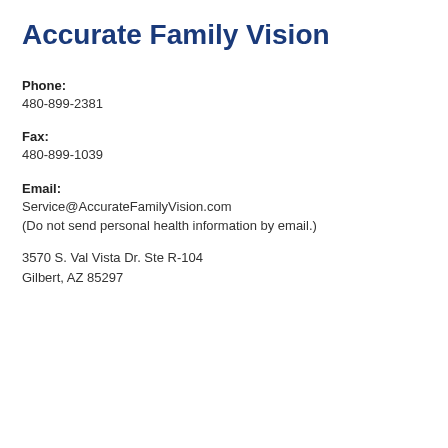Accurate Family Vision
Phone:
480-899-2381
Fax:
480-899-1039
Email:
Service@AccurateFamilyVision.com
(Do not send personal health information by email.)
3570 S. Val Vista Dr. Ste R-104
Gilbert, AZ 85297